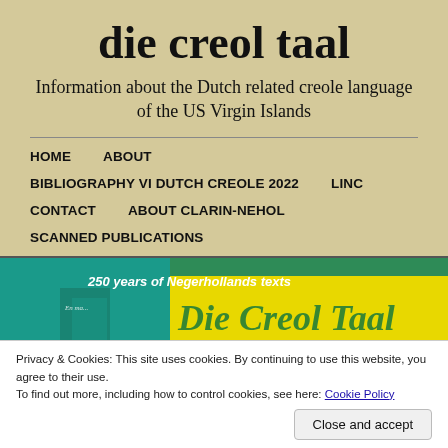die creol taal
Information about the Dutch related creole language of the US Virgin Islands
HOME
ABOUT
BIBLIOGRAPHY VI DUTCH CREOLE 2022
LINC
CONTACT
ABOUT CLARIN-NEHOL
SCANNED PUBLICATIONS
[Figure (photo): Book cover image showing '250 years of Negerhollands texts' and 'Die Creol Taal' in yellow and green design]
Privacy & Cookies: This site uses cookies. By continuing to use this website, you agree to their use.
To find out more, including how to control cookies, see here: Cookie Policy
Close and accept
Creools in
Bru Tekoma